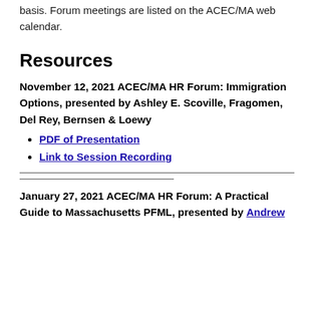basis. Forum meetings are listed on the ACEC/MA web calendar.
Resources
November 12, 2021 ACEC/MA HR Forum: Immigration Options, presented by Ashley E. Scoville, Fragomen, Del Rey, Bernsen & Loewy
PDF of Presentation
Link to Session Recording
January 27, 2021 ACEC/MA HR Forum: A Practical Guide to Massachusetts PFML, presented by Andrew